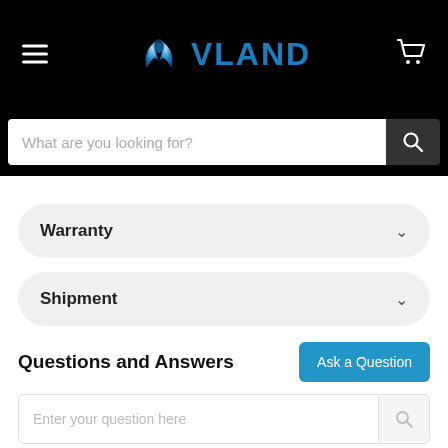VLAND — hamburger menu, logo, cart icon
What are you looking for?
Warranty
Shipment
Questions and Answers
Ask a Question
Enter your question here
No questions found
Latest